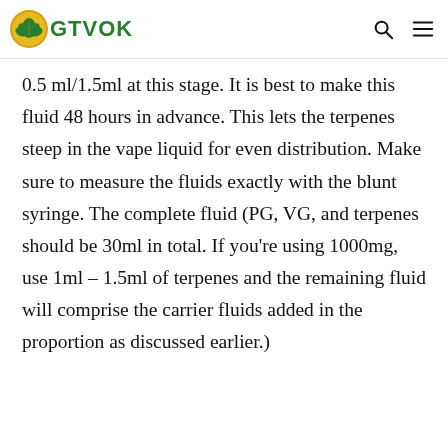GTVOK
0.5 ml/1.5ml at this stage. It is best to make this fluid 48 hours in advance. This lets the terpenes steep in the vape liquid for even distribution. Make sure to measure the fluids exactly with the blunt syringe. The complete fluid (PG, VG, and terpenes should be 30ml in total. If you're using 1000mg, use 1ml – 1.5ml of terpenes and the remaining fluid will comprise the carrier fluids added in the proportion as discussed earlier.)